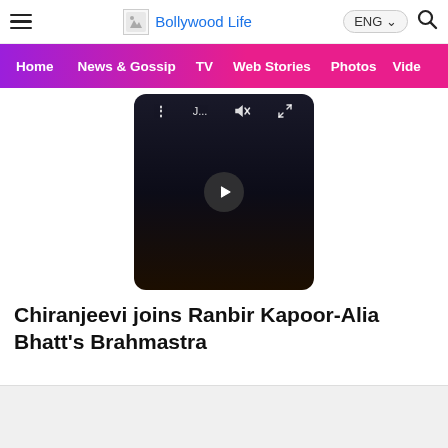Bollywood Life
[Figure (screenshot): Video player showing a dark/black screen with media controls at top (menu, title 'J...', mute icon, fullscreen icon) and a circular play/next button in the center. Rounded rectangle shape resembling a mobile video player.]
Chiranjeevi joins Ranbir Kapoor-Alia Bhatt's Brahmastra